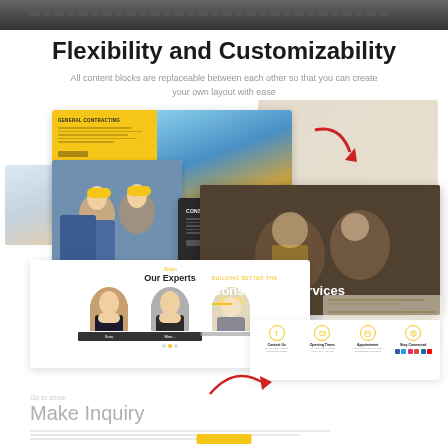[Figure (screenshot): Laptop keyboard top bar]
Flexibility and Customizability
All content blocks are replaceable between each other so that you can create your own layout with ease
[Figure (screenshot): Multiple construction website template screenshots showing GENERAL CONTRACTING page with yellow block and excavator image, CONSTRUCTION PLAN dark section, Construction Services hero, Our Experts team section, and contact bar with icons]
Make Inquiry